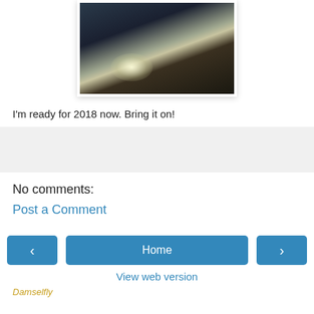[Figure (photo): Dark nature photograph showing a reflective lake or river with trees and bright sun reflection on water surface]
I'm ready for 2018 now. Bring it on!
No comments:
Post a Comment
Home
View web version
Damselfly